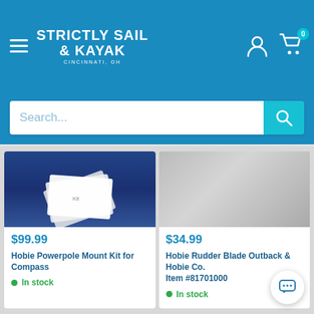Strictly Sail & Kayak - Cincinnati, OH
Search...
[Figure (photo): Product image for Hobie Powerpole Mount Kit for Compass against blue background]
$99.99
Hobie Powerpole Mount Kit for Compass
In stock
[Figure (photo): Product image for Hobie Rudder Blade for Outback & Hobie Co. Item #81701000 against gray background]
$34.99
Hobie Rudder Blade Outback & Hobie Co. Item #81701000
In stock